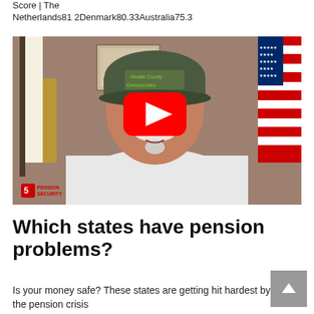Score | The Netherlands 81 2 Denmark 80.33 Australia 75.3
[Figure (screenshot): YouTube video thumbnail showing an older man with a white mustache wearing a green cap, with an American flag visible in the background and a Pension Security logo watermark in the lower left. A red YouTube play button overlay is centered on the video.]
Which states have pension problems?
Is your money safe? These states are getting hit hardest by the pension crisis